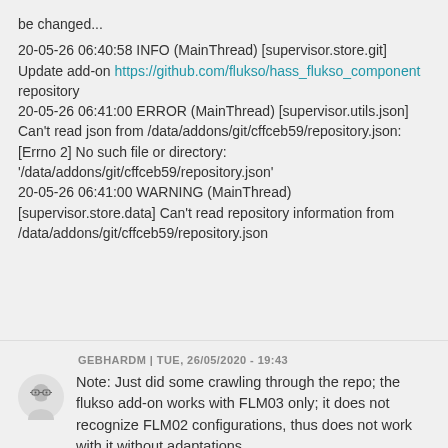be changed...
20-05-26 06:40:58 INFO (MainThread) [supervisor.store.git] Update add-on https://github.com/flukso/hass_flukso_component repository
20-05-26 06:41:00 ERROR (MainThread) [supervisor.utils.json] Can't read json from /data/addons/git/cffceb59/repository.json: [Errno 2] No such file or directory: '/data/addons/git/cffceb59/repository.json'
20-05-26 06:41:00 WARNING (MainThread) [supervisor.store.data] Can't read repository information from /data/addons/git/cffceb59/repository.json
GEBHARDM | TUE, 26/05/2020 - 19:43
Note: Just did some crawling through the repo; the flukso add-on works with FLM03 only; it does not recognize FLM02 configurations, thus does not work with it without adaptations.